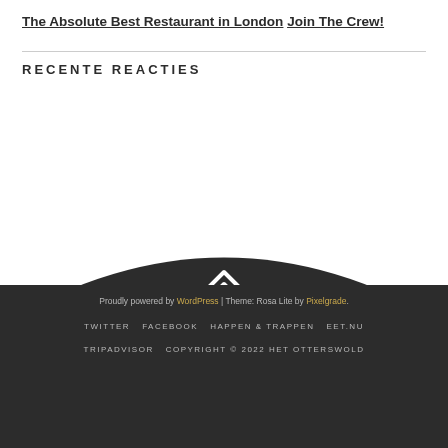The Absolute Best Restaurant in London
Join The Crew!
RECENTE REACTIES
[Figure (illustration): Dark mountain/hill peak shape with a back-to-top chevron arrow icon centered on top, transitioning to dark footer background]
Proudly powered by WordPress | Theme: Rosa Lite by Pixelgrade.
TWITTER  FACEBOOK  HAPPEN & TRAPPEN  EET.NU
TRIPADVISOR  COPYRIGHT © 2022 HET OTTERSWOLD